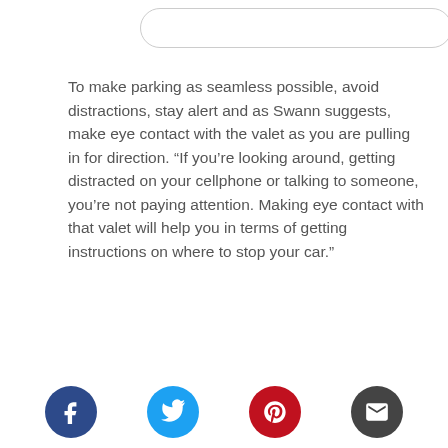[Figure (other): Search bar / input field (rounded rectangle outline)]
To make parking as seamless possible, avoid distractions, stay alert and as Swann suggests, make eye contact with the valet as you are pulling in for direction. “If you’re looking around, getting distracted on your cellphone or talking to someone, you’re not paying attention. Making eye contact with that valet will help you in terms of getting instructions on where to stop your car.”
And finally, if you know you are going to valet park, turn down your radio, make sure the seat
[Figure (other): Social share buttons row: Facebook (blue circle with f), Twitter (cyan circle with bird), Pinterest (red circle with p), Email (dark grey circle with envelope)]